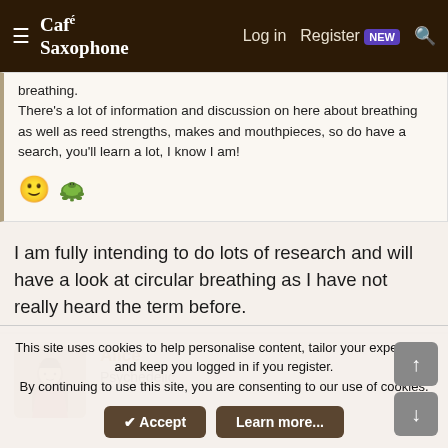Café Saxophone — Log in  Register  NEW  Search
breathing.
There's a lot of information and discussion on here about breathing as well as reed strengths, makes and mouthpieces, so do have a search, you'll learn a lot, I know I am!
I am fully intending to do lots of research and will have a look at circular breathing as I have not really heard the term before.
Alice
Psychedelic
This site uses cookies to help personalise content, tailor your experience and keep you logged in if you register.
By continuing to use this site, you are consenting to our use of cookies.